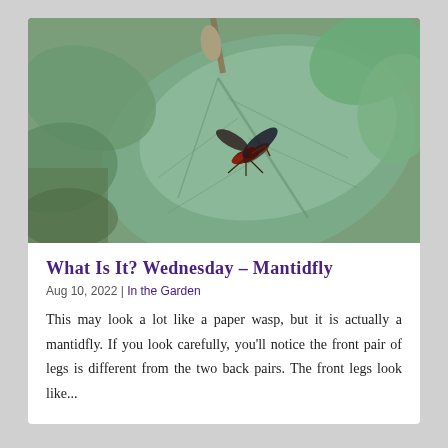[Figure (photo): Close-up photograph of a mantidfly insect resting on a large green leaf with visible veins. The insect resembles a paper wasp with reddish-brown and dark coloring and spread wings. Background shows more green leaves and garden foliage.]
What Is It? Wednesday – Mantidfly
Aug 10, 2022 | In the Garden
This may look a lot like a paper wasp, but it is actually a mantidfly. If you look carefully, you'll notice the front pair of legs is different from the two back pairs. The front legs look like...